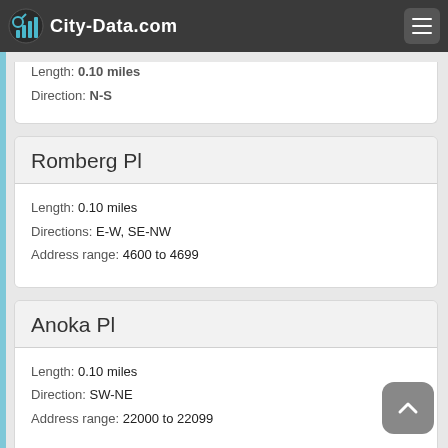City-Data.com
Length: 0.10 miles
Direction: N-S
Romberg Pl
Length: 0.10 miles
Directions: E-W, SE-NW
Address range: 4600 to 4699
Anoka Pl
Length: 0.10 miles
Direction: SW-NE
Address range: 22000 to 22099